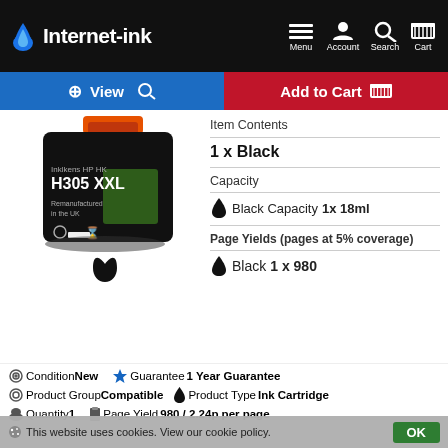Internet-ink | Menu | Account | Search | Cart
[Figure (screenshot): View and Add to Cart action buttons bar]
[Figure (photo): HP H305 XXL black ink cartridge product photo with ink drop below]
Item Contents
1 x Black
Capacity
Black Capacity 1x 18ml
Page Yields (pages at 5% coverage)
Black 1 x 980
Condition New   Guarantee 1 Year Guarantee
Product Group Compatible   Product Type Ink Cartridge
Quantity 1   Page Yield 980 / 2.24p per page
This website uses cookies. View our cookie policy. OK